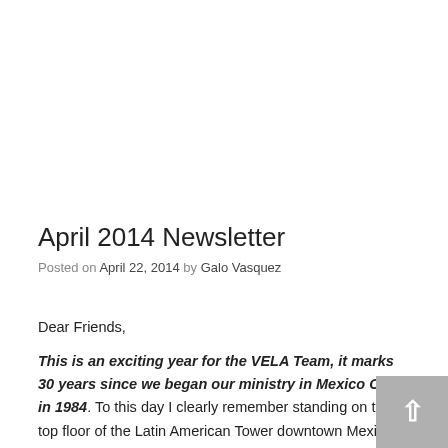April 2014 Newsletter
Posted on April 22, 2014 by Galo Vasquez
Dear Friends,
This is an exciting year for the VELA Team, it marks 30 years since we began our ministry in Mexico City in 1984. To this day I clearly remember standing on the top floor of the Latin American Tower downtown Mexico City looking out over the thousands of buildings, houses and people and sensing God's calling to serve to see Mexico City and all of Latin America